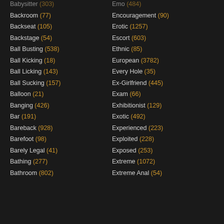Babysitter (303)
Backroom (77)
Backseat (105)
Backstage (54)
Ball Busting (538)
Ball Kicking (18)
Ball Licking (143)
Ball Sucking (157)
Balloon (21)
Banging (426)
Bar (191)
Bareback (928)
Barefoot (98)
Barely Legal (41)
Bathing (277)
Bathroom (802)
Emo (484)
Encouragement (90)
Erotic (1257)
Escort (603)
Ethnic (85)
European (3782)
Every Hole (35)
Ex-Girlfriend (445)
Exam (66)
Exhibitionist (129)
Exotic (492)
Experienced (223)
Exploited (228)
Exposed (253)
Extreme (1072)
Extreme Anal (54)